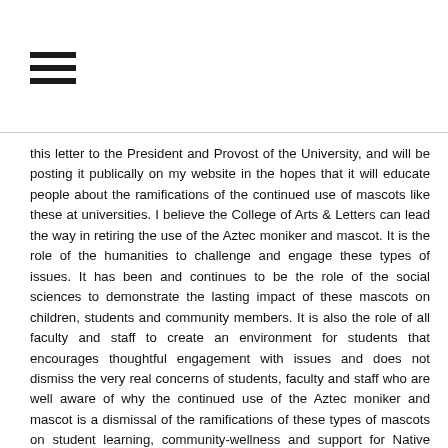[Figure (other): Hamburger/menu icon — three horizontal black bars]
this letter to the President and Provost of the University, and will be posting it publically on my website in the hopes that it will educate people about the ramifications of the continued use of mascots like these at universities. I believe the College of Arts & Letters can lead the way in retiring the use of the Aztec moniker and mascot. It is the role of the humanities to challenge and engage these types of issues. It has been and continues to be the role of the social sciences to demonstrate the lasting impact of these mascots on children, students and community members. It is also the role of all faculty and staff to create an environment for students that encourages thoughtful engagement with issues and does not dismiss the very real concerns of students, faculty and staff who are well aware of why the continued use of the Aztec moniker and mascot is a dismissal of the ramifications of these types of mascots on student learning, community-wellness and support for Native nations.

There are many other campuses throughout the United States who have already done away with their Indian mascots. Dartmouth and Stanford University led the way in the early 1970s. Both schools had administrators,